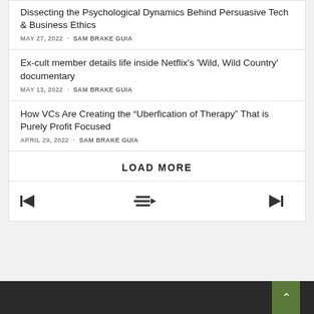Dissecting the Psychological Dynamics Behind Persuasive Tech & Business Ethics
MAY 27, 2022 · Sam Brake Guia
Ex-cult member details life inside Netflix's 'Wild, Wild Country' documentary
MAY 13, 2022 · Sam Brake Guia
How VCs Are Creating the “Uberfication of Therapy” That is Purely Profit Focused
APRIL 29, 2022 · Sam Brake Guia
LOAD MORE
[Figure (other): Media player navigation bar with skip-to-start, playlist, and skip-to-end icons]
Dark footer bar with scroll-to-top button